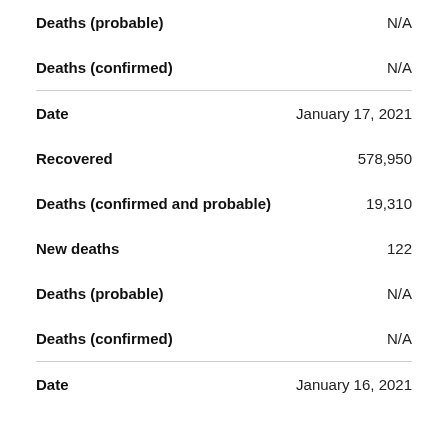| Field | Value |
| --- | --- |
| Deaths (probable) | N/A |
| Deaths (confirmed) | N/A |
| Date | January 17, 2021 |
| Recovered | 578,950 |
| Deaths (confirmed and probable) | 19,310 |
| New deaths | 122 |
| Deaths (probable) | N/A |
| Deaths (confirmed) | N/A |
| Date | January 16, 2021 |